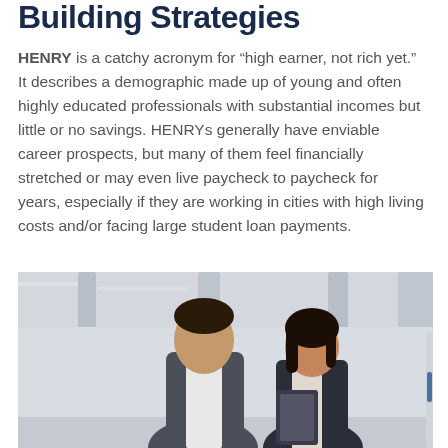Building Strategies
HENRY is a catchy acronym for “high earner, not rich yet.” It describes a demographic made up of young and often highly educated professionals with substantial incomes but little or no savings. HENRYs generally have enviable career prospects, but many of them feel financially stretched or may even live paycheck to paycheck for years, especially if they are working in cities with high living costs and/or facing large student loan payments.
[Figure (photo): Two young professionals in business attire, a man and a woman, standing and talking together in a modern building with columns and high ceilings. The man is looking down and the woman is smiling and holding a folder or tablet.]